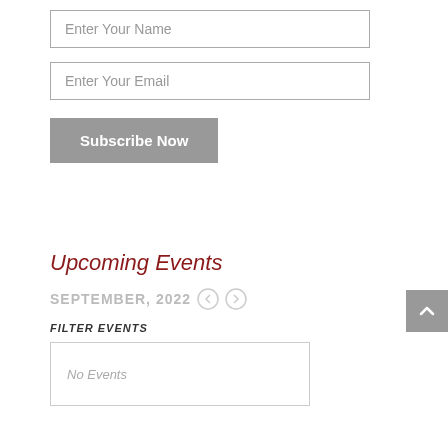Enter Your Name
Enter Your Email
Subscribe Now
Upcoming Events
SEPTEMBER, 2022
FILTER EVENTS
No Events